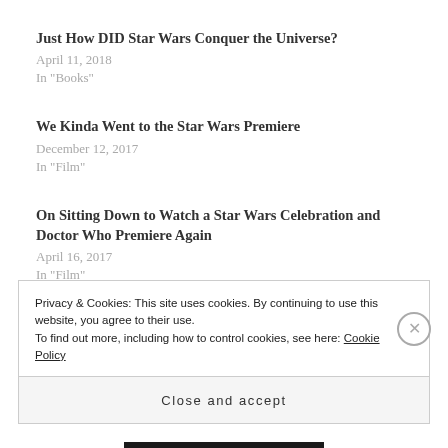Just How DID Star Wars Conquer the Universe?
April 11, 2018
In "Books"
We Kinda Went to the Star Wars Premiere
December 12, 2017
In "Film"
On Sitting Down to Watch a Star Wars Celebration and Doctor Who Premiere Again
April 16, 2017
In "Film"
Privacy & Cookies: This site uses cookies. By continuing to use this website, you agree to their use.
To find out more, including how to control cookies, see here: Cookie Policy
Close and accept